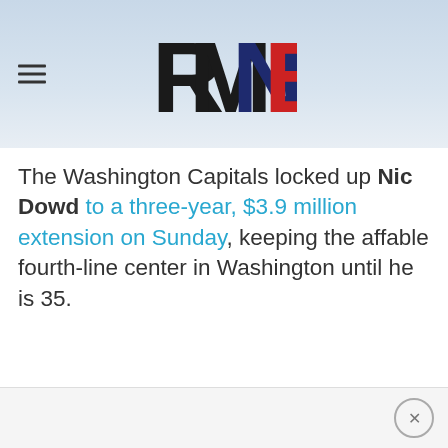RMNB
The Washington Capitals locked up Nic Dowd to a three-year, $3.9 million extension on Sunday, keeping the affable fourth-line center in Washington until he is 35.